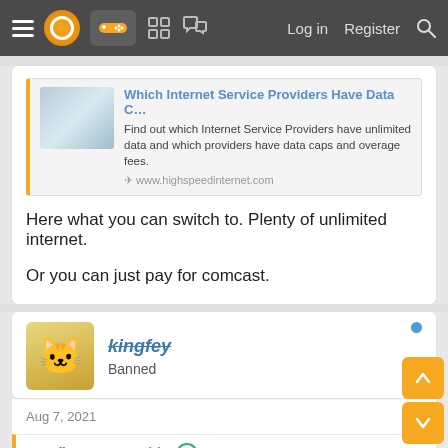Navigation bar with menu, logo, gaming icon, grid icon, chat icon, Log in, Register, Search
[Figure (screenshot): Advertisement for highspeedinternet.com showing ISP data cap comparison]
Here what you can switch to. Plenty of unlimited internet.
Or you can just pay for comcast.
kingfey
Banned
Aug 7, 2021
Bonfires Down said: ⊕